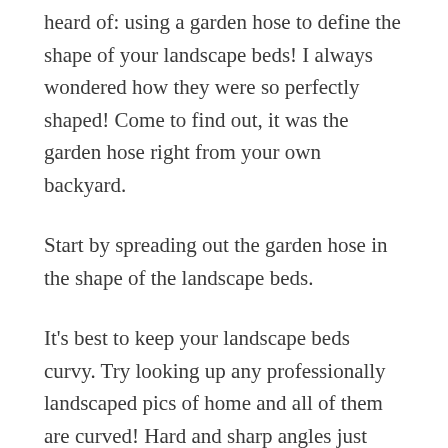heard of: using a garden hose to define the shape of your landscape beds! I always wondered how they were so perfectly shaped! Come to find out, it was the garden hose right from your own backyard.
Start by spreading out the garden hose in the shape of the landscape beds.
It's best to keep your landscape beds curvy. Try looking up any professionally landscaped pics of home and all of them are curved! Hard and sharp angles just look funny.